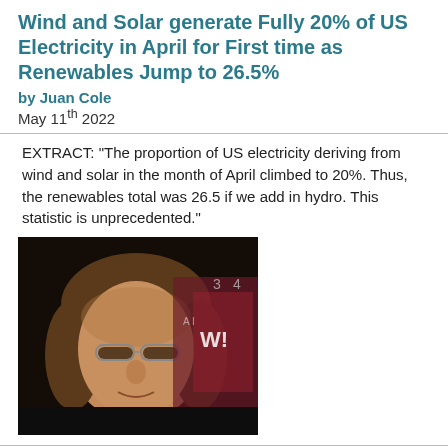Wind and Solar generate Fully 20% of US Electricity in April for First time as Renewables Jump to 26.5%
by Juan Cole
May 11th 2022
EXTRACT: "The proportion of US electricity deriving from wind and solar in the month of April climbed to 20%. Thus, the renewables total was 26.5 if we add in hydro. This statistic is unprecedented."
[Figure (photo): Headshot of Juan Cole, a man with glasses and shoulder-length hair, wearing a dark jacket, in front of a TV studio backdrop]
Prostate cancer linked to bacteria, raising